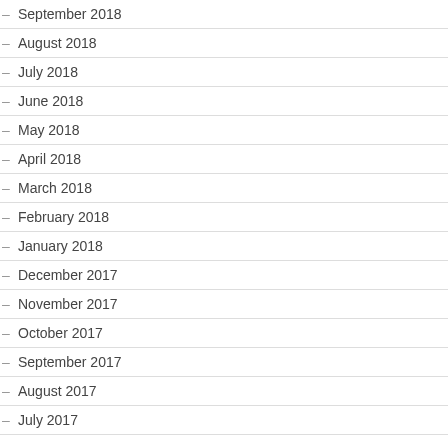September 2018
August 2018
July 2018
June 2018
May 2018
April 2018
March 2018
February 2018
January 2018
December 2017
November 2017
October 2017
September 2017
August 2017
July 2017
The au
“I mean studies watch b side by said as theory
The cr
“And th membe
Robin’s
“Right, exagge
The au